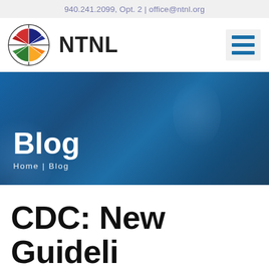940.241.2099, Opt. 2 | office@ntnl.org
[Figure (logo): NTNL organization logo: colorful stained-glass globe with cross, next to bold text 'NTNL']
[Figure (infographic): Blue hamburger/menu icon with three horizontal bars]
[Figure (infographic): Hero banner with blue gradient background, large white text 'Blog' and breadcrumb 'Home | Blog']
CDC: New Guideli...